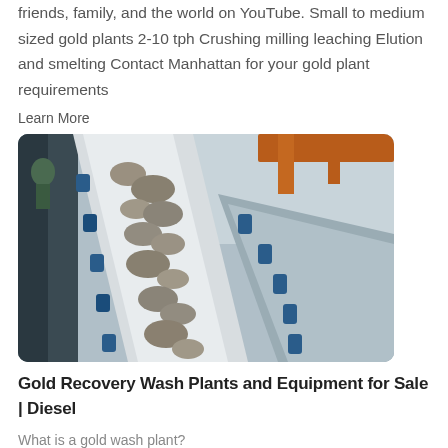friends, family, and the world on YouTube. Small to medium sized gold plants 2-10 tph Crushing milling leaching Elution and smelting Contact Manhattan for your gold plant requirements
Learn More
[Figure (photo): Conveyor belt carrying crushed rocks/ore at a mining or gold processing plant, viewed from above at an angle. Industrial metal structure and blue sky visible in background.]
Gold​ Recovery ​Wash​ ​Plants​ and Equipment ​for Sale​ | Diesel
What is a gold wash plant?
Learn More